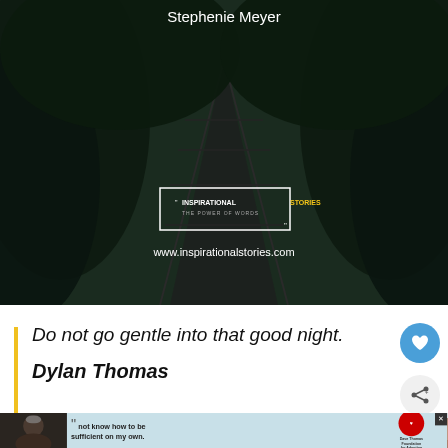[Figure (screenshot): Dark moody photo of a bridge/walkway through dense forest with overlay: Stephenie Meyer quote, Inspirational Stories logo and www.inspirationalstories.com watermark]
Do not go gentle into that good night.
Dylan Thomas
[Figure (screenshot): What's Next panel showing Famous Peace Pilgrim... with thumbnail image]
[Figure (screenshot): Advertisement banner: person with beanie, quote 'not know how to be sufficient on my own.' Dave Thomas Foundation for Adoption logo, close button]